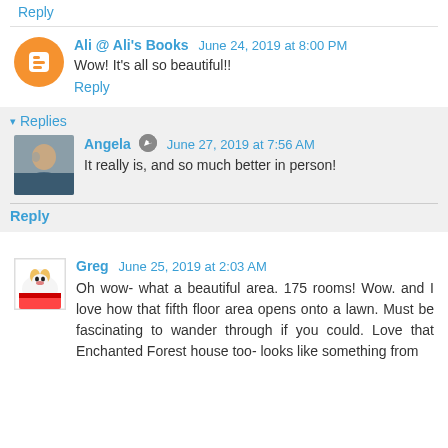Reply
Ali @ Ali's Books  June 24, 2019 at 8:00 PM
Wow! It's all so beautiful!!
Reply
Replies
Angela  June 27, 2019 at 7:56 AM
It really is, and so much better in person!
Reply
Greg  June 25, 2019 at 2:03 AM
Oh wow- what a beautiful area. 175 rooms! Wow. and I love how that fifth floor area opens onto a lawn. Must be fascinating to wander through if you could. Love that Enchanted Forest house too- looks like something from